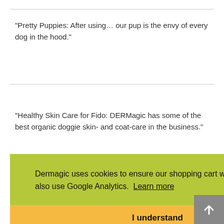"Pretty Puppies: After using… our pup is the envy of every dog in the hood."
"Healthy Skin Care for Fido: DERMagic has some of the best organic doggie skin- and coat-care in the business."
Dermagic uses cookies to ensure our shopping cart works correctly. We also use Google Analytics. Learn more
I understand